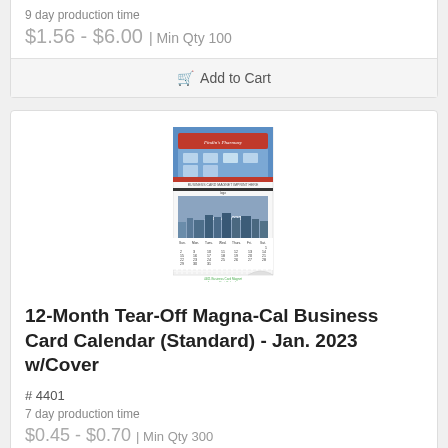9 day production time
$1.56 - $6.00 | Min Qty 100
Add to Cart
[Figure (photo): 12-Month Tear-Off Magna-Cal Business Card Calendar with cover, showing January 2023]
12-Month Tear-Off Magna-Cal Business Card Calendar (Standard) - Jan. 2023 w/Cover
# 4401
7 day production time
$0.45 - $0.70 | Min Qty 300